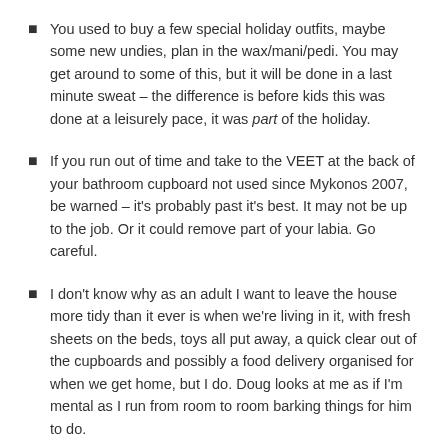You used to buy a few special holiday outfits, maybe some new undies, plan in the wax/mani/pedi. You may get around to some of this, but it will be done in a last minute sweat – the difference is before kids this was done at a leisurely pace, it was part of the holiday.
If you run out of time and take to the VEET at the back of your bathroom cupboard not used since Mykonos 2007, be warned – it's probably past it's best. It may not be up to the job. Or it could remove part of your labia. Go careful.
I don't know why as an adult I want to leave the house more tidy than it ever is when we're living in it, with fresh sheets on the beds, toys all put away, a quick clear out of the cupboards and possibly a food delivery organised for when we get home, but I do. Doug looks at me as if I'm mental as I run from room to room barking things for him to do.